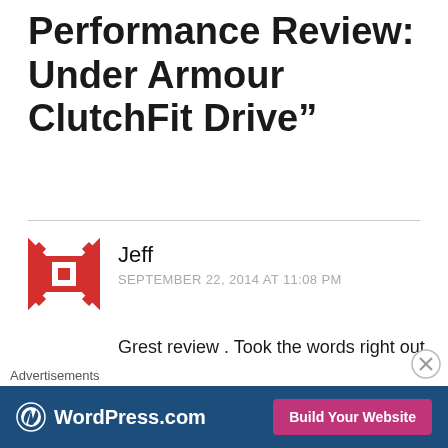Performance Review: Under Armour ClutchFit Drive”
Jeff
SEPTEMBER 22, 2014 AT 11:08 PM
Grest review . Took the words right out of my mouth . The transition in these is fantastic . I liked the kobe ix but turned the crap out of my ankle in them . Plus drop in insoles pinch when I cut
Advertisements
[Figure (logo): WordPress.com advertisement banner with Build Your Website button]